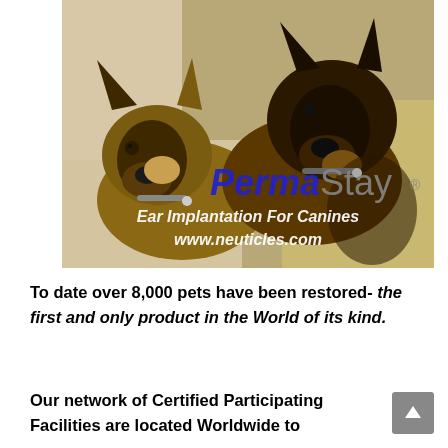[Figure (photo): Two German Shepherd dogs looking at camera, with PermaStay brand overlay text reading 'PermaStay® Ear Implantation For Canines www.neuticles.com']
To date over 8,000 pets have been restored- the first and only product in the World of its kind.
Our network of Certified Participating Facilities are located Worldwide to